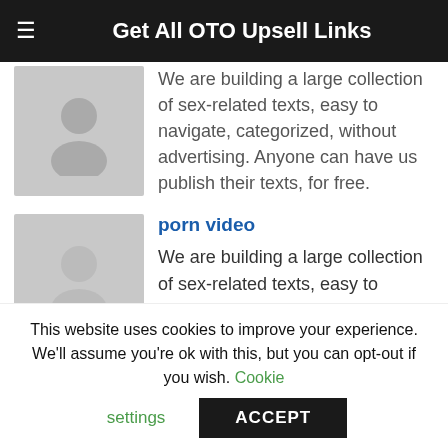Get All OTO Upsell Links
We are building a large collection of sex-related texts, easy to navigate, categorized, without advertising. Anyone can have us publish their texts, for free.
porn video
We are building a large collection of sex-related texts, easy to navigate, categorized, without advertising. Anyone can have us publish their texts, for free.
Buy Spain NFT
This website uses cookies to improve your experience. We'll assume you're ok with this, but you can opt-out if you wish. Cookie settings ACCEPT